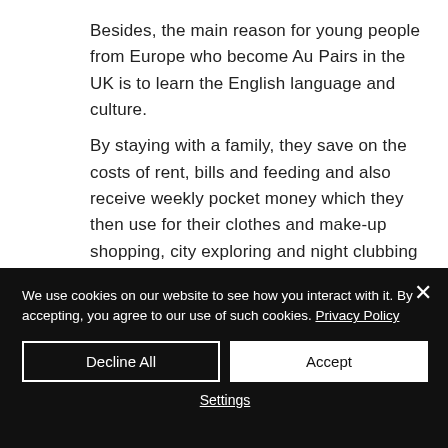Besides, the main reason for young people from Europe who become Au Pairs in the UK is to learn the English language and culture.
By staying with a family, they save on the costs of rent, bills and feeding and also receive weekly pocket money which they then use for their clothes and make-up shopping, city exploring and night clubbing on the weekends.
We use cookies on our website to see how you interact with it. By accepting, you agree to our use of such cookies. Privacy Policy
Decline All
Accept
Settings